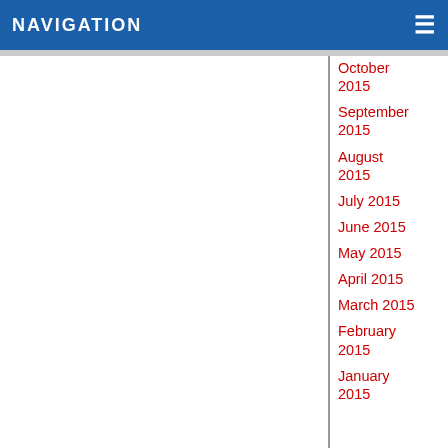NAVIGATION
October 2015
September 2015
August 2015
July 2015
June 2015
May 2015
April 2015
March 2015
February 2015
January 2015